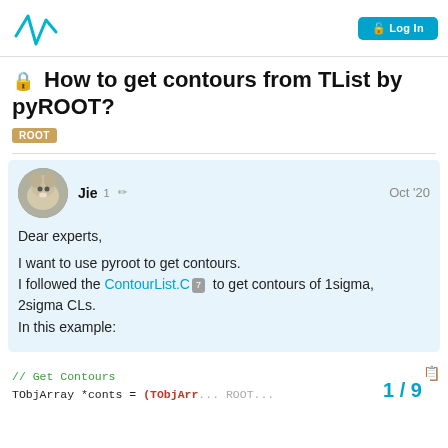ROOT Forum logo | Log In button
🔒 How to get contours from TList by pyROOT?
ROOT
Jie  1 ✏  Oct '20
Dear experts,

I want to use pyroot to get contours.
I followed the ContourList.C 7  to get contours of 1sigma, 2sigma CLs.
In this example:
1 / 9